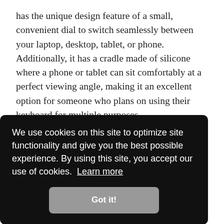has the unique design feature of a small, convenient dial to switch seamlessly between your laptop, desktop, tablet, or phone. Additionally, it has a cradle made of silicone where a phone or tablet can sit comfortably at a perfect viewing angle, making it an excellent option for someone who plans on using their keyboard for multiple purposes.
The keys are small and round, almost reminiscent of a typewriter, which may be strange to those used to typing on
We use cookies on this site to optimize site functionality and give you the best possible experience. By using this site, you accept our use of cookies. Learn more
Got it!
versatile option.